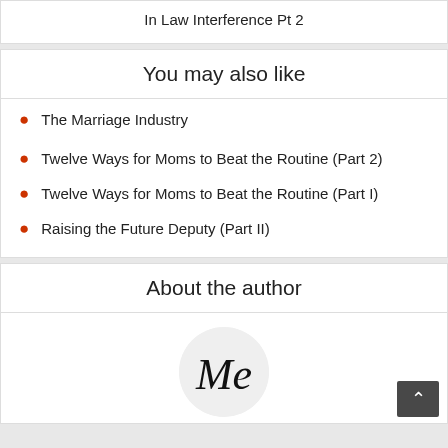In Law Interference Pt 2
You may also like
The Marriage Industry
Twelve Ways for Moms to Beat the Routine (Part 2)
Twelve Ways for Moms to Beat the Routine (Part I)
Raising the Future Deputy (Part II)
About the author
[Figure (illustration): Author monogram/logo circle with stylized 'Me' script lettering]